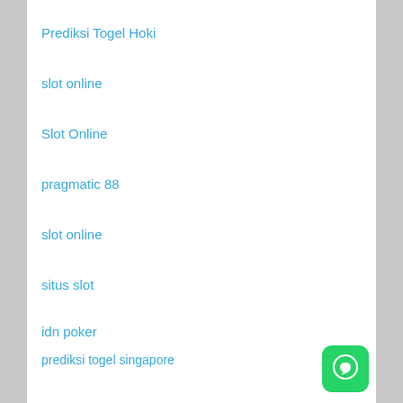Prediksi Togel Hoki
slot online
Slot Online
pragmatic 88
slot online
situs slot
idn poker
prediksi togel singapore
syair togel sgp
judi slot online
[Figure (logo): WhatsApp green rounded square button with white phone/chat icon]